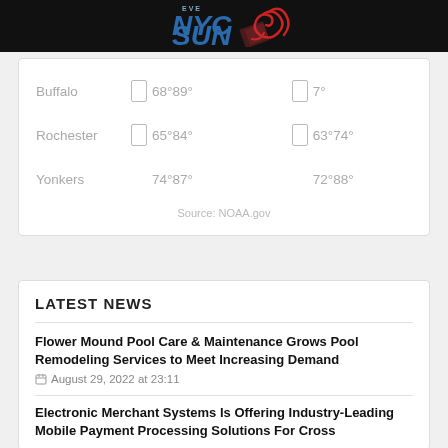[Figure (logo): NYC Sun newspaper logo on black header bar with blue italic NYC SUN text and red swirl graphic]
| City | Day 1 | Day 2 |
| --- | --- | --- |
| Buffalo | 68°89° | 7° |
| Rochester | 65°84° | 63°74° |
| Yonkers | 74°87° | 72°88° |
Source: NOAA.gov
LATEST NEWS
Flower Mound Pool Care & Maintenance Grows Pool Remodeling Services to Meet Increasing Demand
August 29, 2022 at 23:11
Electronic Merchant Systems Is Offering Industry-Leading Mobile Payment Processing Solutions For Cross